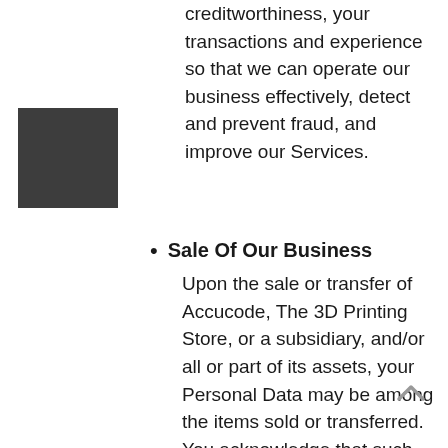[Figure (logo): Dark gray square logo box]
creditworthiness, your transactions and experience so that we can operate our business effectively, detect and prevent fraud, and improve our Services.
Sale Of Our Business
Upon the sale or transfer of Accucode, The 3D Printing Store, or a subsidiary, and/or all or part of its assets, your Personal Data may be among the items sold or transferred. You acknowledge that such transfer may occur, and that any acquirer of Accucode, The